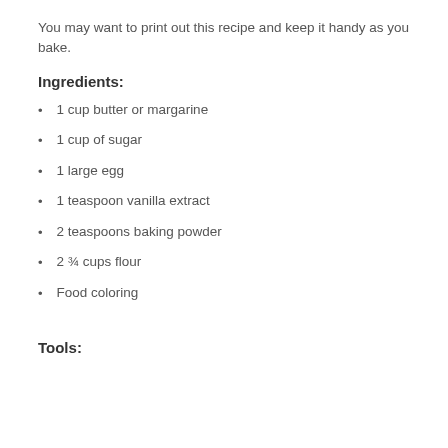You may want to print out this recipe and keep it handy as you bake.
Ingredients:
1 cup butter or margarine
1 cup of sugar
1 large egg
1 teaspoon vanilla extract
2 teaspoons baking powder
2 ¾ cups flour
Food coloring
Tools: